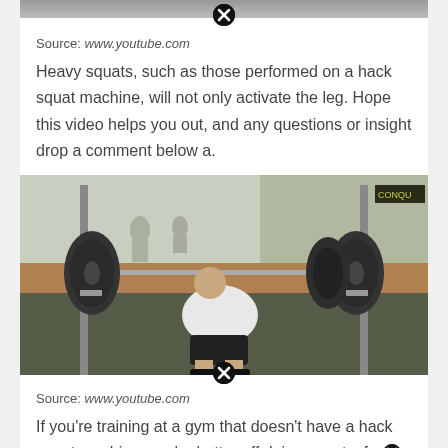[Figure (photo): Top strip of a gym/exercise video image, partially visible at top of page]
Source: www.youtube.com
Heavy squats, such as those performed on a hack squat machine, will not only activate the leg. Hope this video helps you out, and any questions or insight drop a comment below a.
[Figure (photo): Photo of a man performing a barbell squat exercise in a gym, with squat rack and weights visible, mirrors in background]
Source: www.youtube.com
If you're training at a gym that doesn't have a hack squat machine, you're better off doing squats, fro squats, the smith